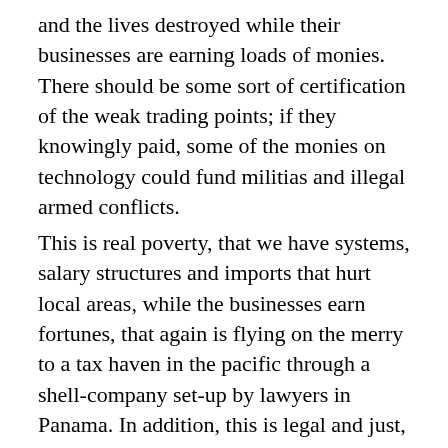and the lives destroyed while their businesses are earning loads of monies. There should be some sort of certification of the weak trading points; if they knowingly paid, some of the monies on technology could fund militias and illegal armed conflicts.
This is real poverty, that we have systems, salary structures and imports that hurt local areas, while the businesses earn fortunes, that again is flying on the merry to a tax haven in the pacific through a shell-company set-up by lawyers in Panama. In addition, this is legal and just, by law and in society. That the same companies telling their workers that they cannot afford more wages, since they have to